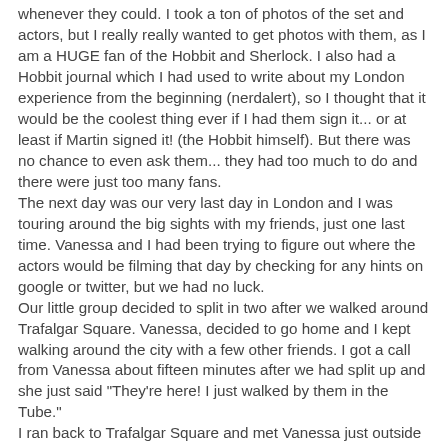whenever they could. I took a ton of photos of the set and actors, but I really really wanted to get photos with them, as I am a HUGE fan of the Hobbit and Sherlock. I also had a Hobbit journal which I had used to write about my London experience from the beginning (nerdalert), so I thought that it would be the coolest thing ever if I had them sign it... or at least if Martin signed it! (the Hobbit himself). But there was no chance to even ask them... they had too much to do and there were just too many fans. The next day was our very last day in London and I was touring around the big sights with my friends, just one last time. Vanessa and I had been trying to figure out where the actors would be filming that day by checking for any hints on google or twitter, but we had no luck. Our little group decided to split in two after we walked around Trafalgar Square. Vanessa, decided to go home and I kept walking around the city with a few other friends. I got a call from Vanessa about fifteen minutes after we had split up and she just said "They're here! I just walked by them in the Tube." I ran back to Trafalgar Square and met Vanessa just outside the station, and we went down to see if we could see them.